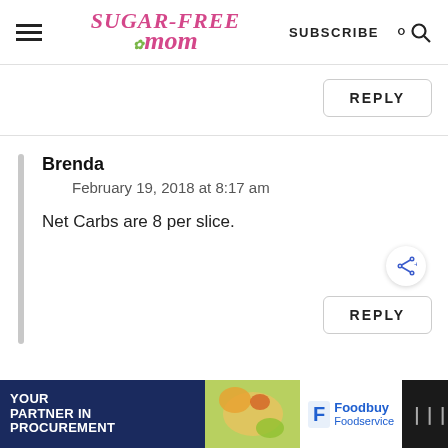Sugar-Free Mom — SUBSCRIBE
REPLY
Brenda
February 19, 2018 at 8:17 am
Net Carbs are 8 per slice.
REPLY
[Figure (screenshot): Advertisement banner: YOUR PARTNER IN PROCUREMENT with Foodbuy Foodservice logo]